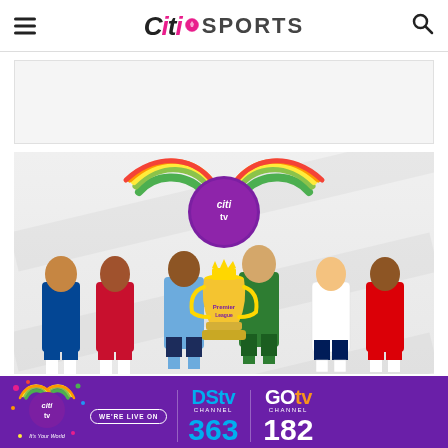Citi SPORTS
[Figure (other): White ad placeholder rectangle]
[Figure (illustration): Citi TV promotional banner showing the Citi TV logo at top with colorful feather/swoosh design, and six Premier League footballers in their club kits standing behind the Premier League trophy]
[Figure (other): Purple banner showing Citi TV logo with 'WE'RE LIVE ON' pill, DStv Channel 363 and GOtv Channel 182]